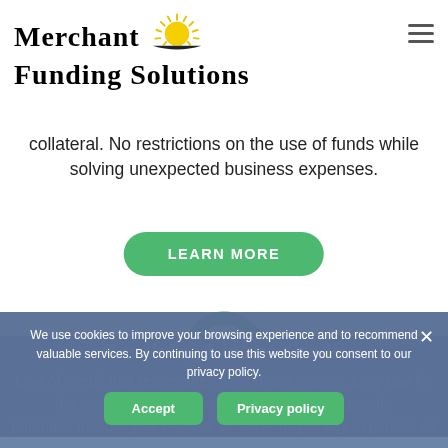Merchant Funding Solutions
collateral. No restrictions on the use of funds while solving unexpected business expenses.
LEARN MORE
[Figure (illustration): Green circular arrows / refresh/revolve icon]
Revolving Line of Credit
Line of Credit that replenishes as you pay it down. Only pay for the money you use. Use the funds to scale growth, purchase inventory as needed, or cover day to day expenses as
We use cookies to improve your browsing experience and to recommend valuable services. By continuing to use this website you consent to our privacy policy.
Accept   Privacy policy